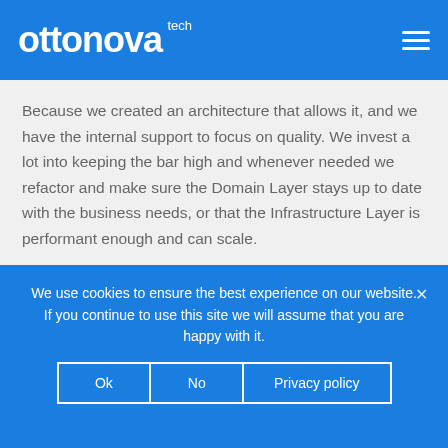ottonova tech
Because we created an architecture that allows it, and we have the internal support to focus on quality. We invest a lot into keeping the bar high and whenever needed we refactor and make sure the Domain Layer stays up to date with the business needs, or that the Infrastructure Layer is performant enough and can scale.
We use cookies to ensure the best experience on our website. If you continue to use this site we will assume that you are happy with it.
Ok | No | Privacy policy